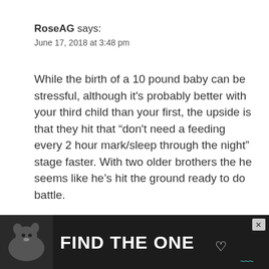RoseAG says:
June 17, 2018 at 3:48 pm
While the birth of a 10 pound baby can be stressful, although it's probably better with your third child than your first, the upside is that they hit that “don't need a feeding every 2 hour mark/sleep through the night” stage faster. With two older brothers the he seems like he’s hit the ground ready to do battle.

Both your ladies look suitable for an airport, although I think wearing white is dicey on a plane as you never know when someone’s drink is going to end sloshed over you. Given that you are squished up in a… away th… at they c…
[Figure (other): Advertisement banner: dark background with dog image and text 'FIND THE ONE' with a heart symbol, plus a brand logo with wave/sound icons]